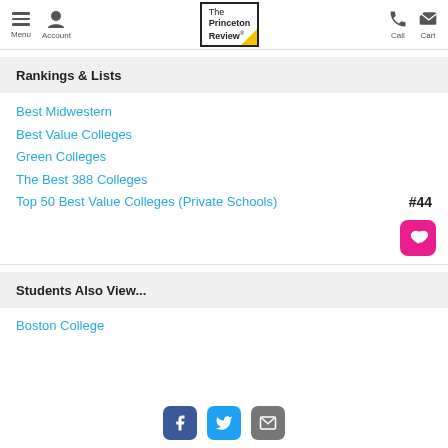Menu | Account | The Princeton Review | Call | Cart
Rankings & Lists
Best Midwestern
Best Value Colleges
Green Colleges
The Best 388 Colleges
Top 50 Best Value Colleges (Private Schools) #44
Students Also View...
Boston College